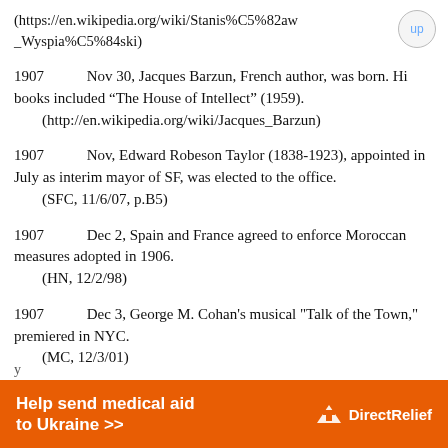(https://en.wikipedia.org/wiki/Stanis%C5%82aw_Wyspia%C5%84ski)
1907	Nov 30, Jacques Barzun, French author, was born. Hi books included “The House of Intellect” (1959).
(http://en.wikipedia.org/wiki/Jacques_Barzun)
1907	Nov, Edward Robeson Taylor (1838-1923), appointed in July as interim mayor of SF, was elected to the office.
(SFC, 11/6/07, p.B5)
1907	Dec 2, Spain and France agreed to enforce Moroccan measures adopted in 1906.
(HN, 12/2/98)
1907	Dec 3, George M. Cohan's musical "Talk of the Town," premiered in NYC.
(MC, 12/3/01)
1907	Dec 6, The worst mining disaster in
[Figure (other): Orange advertisement banner for Direct Relief: 'Help send medical aid to Ukraine >>']